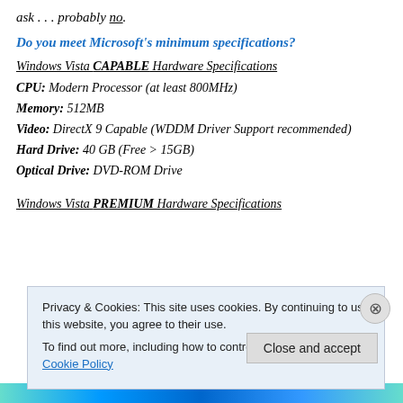ask . . . probably no.
Do you meet Microsoft's minimum specifications?
Windows Vista CAPABLE Hardware Specifications
CPU: Modern Processor (at least 800MHz)
Memory: 512MB
Video: DirectX 9 Capable (WDDM Driver Support recommended)
Hard Drive: 40 GB (Free > 15GB)
Optical Drive: DVD-ROM Drive
Windows Vista PREMIUM Hardware Specifications
Privacy & Cookies: This site uses cookies. By continuing to use this website, you agree to their use. To find out more, including how to control cookies, see here: Cookie Policy
Close and accept